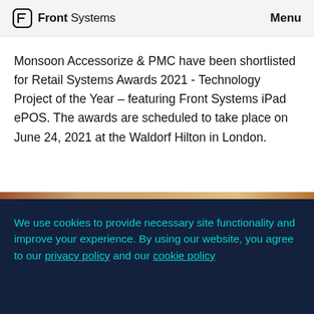Front Systems  Menu
Monsoon Accessorize & PMC have been shortlisted for Retail Systems Awards 2021 - Technology Project of the Year – featuring Front Systems iPad ePOS. The awards are scheduled to take place on June 24, 2021 at the Waldorf Hilton in London.
We use cookies to provide necessary site functionality and improve your experience. By using our website, you agree to our privacy policy and our cookie policy
OK